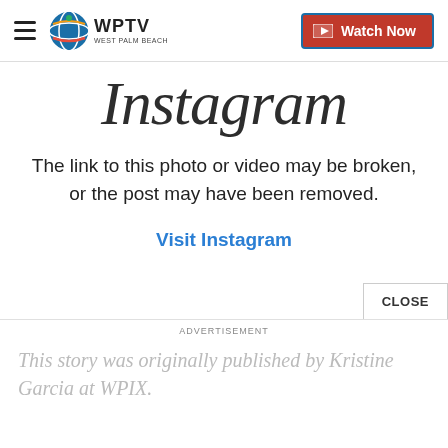WPTV West Palm Beach — Watch Now
[Figure (logo): Instagram logo text displayed partially, styled in cursive script]
The link to this photo or video may be broken, or the post may have been removed.
Visit Instagram
ADVERTISEMENT
This story was originally published by Kristine Garcia at WPIX.